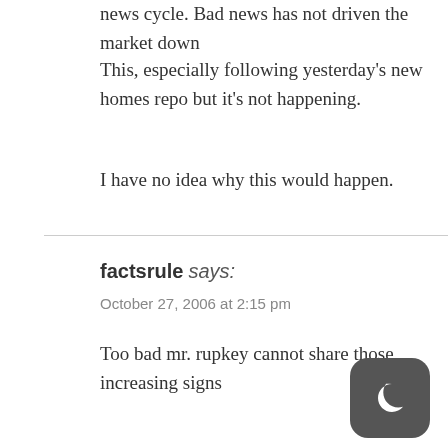news cycle. Bad news has not driven the market down
This, especially following yesterday's new homes repo but it's not happening.
I have no idea why this would happen.
factsrule says: October 27, 2006 at 2:15 pm
Too bad mr. rupkey cannot share those increasing signs